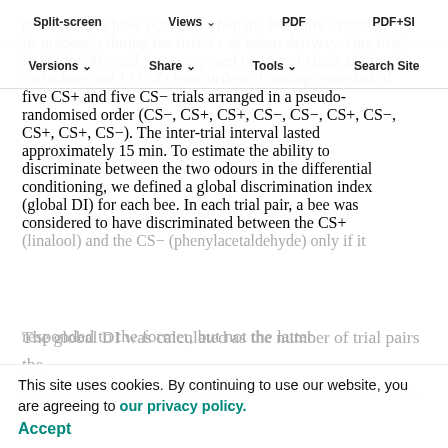Split-screen   Views   PDF   PDF+SI
Versions   Share   Tools   Search Site
considered to have occurred when the bee fully extended its proboscis during the first 3 s of odour delivery. One trial lasted for 30 s and was composed of 16 s of clean airflow, 6 s of odour and 17 s of clean airflow. Training consisted of five CS+ and five CS− trials arranged in a pseudo-randomised order (CS−, CS+, CS+, CS−, CS−, CS+, CS−, CS+, CS+, CS−). The inter-trial interval lasted approximately 15 min. To estimate the ability to discriminate between the two odours in the differential conditioning, we defined a global discrimination index (global DI) for each bee. In each trial pair, a bee was considered to have discriminated between the CS+ (linalool) and the CS− (phenylacetaldehyde) only if it responded to the former, but not the latter. The global DI was calculated as the number of trial pairs the bee succeeded in discriminating between the two odours.
This site uses cookies. By continuing to use our website, you are agreeing to our privacy policy. Accept